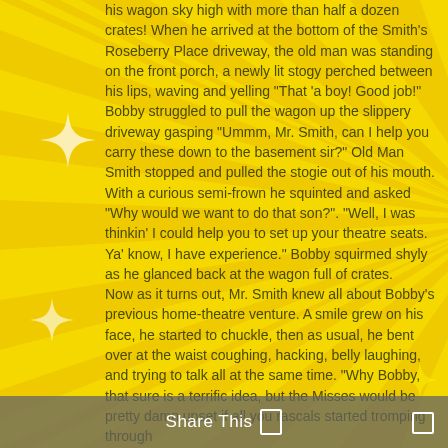[Figure (illustration): Yellow sunburst radiating lines background with sparkle/star decorations on left side]
his wagon sky high with more than half a dozen crates! When he arrived at the bottom of the Smith's Roseberry Place driveway, the old man was standing on the front porch, a newly lit stogy perched between his lips, waving and yelling "That 'a boy! Good job!" Bobby struggled to pull the wagon up the slippery driveway gasping "Ummm, Mr. Smith, can I help you carry these down to the basement sir?" Old Man Smith stopped and pulled the stogie out of his mouth. With a curious semi-frown he squinted and asked "Why would we want to do that son?". "Well, I was thinkin' I could help you to set up your theatre seats. Ya' know, I have experience." Bobby squirmed shyly as he glanced back at the wagon full of crates.
Now as it turns out, Mr. Smith knew all about Bobby's previous home-theatre venture. A smile grew on his face, he started to chuckle, then as usual, he bent over at the waist coughing, hacking, belly laughing, and trying to talk all at the same time. "Why Bobby, that sure is a terrific idea, but the Misses would be pretty damn upset if all you rascals started tromping through
Share This